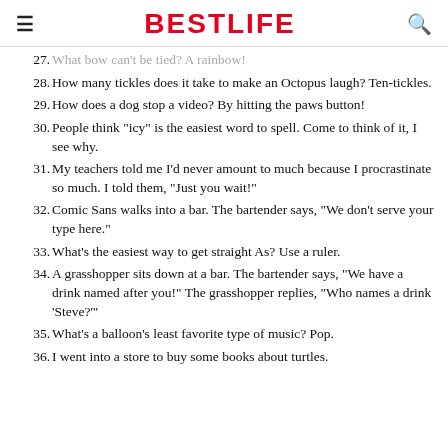BESTLIFE
27. What bow can't be tied? A rainbow!
28. How many tickles does it take to make an Octopus laugh? Ten-tickles.
29. How does a dog stop a video? By hitting the paws button!
30. People think "icy" is the easiest word to spell. Come to think of it, I see why.
31. My teachers told me I'd never amount to much because I procrastinate so much. I told them, "Just you wait!"
32. Comic Sans walks into a bar. The bartender says, "We don't serve your type here."
33. What's the easiest way to get straight As? Use a ruler.
34. A grasshopper sits down at a bar. The bartender says, "We have a drink named after you!" The grasshopper replies, "Who names a drink 'Steve?'"
35. What's a balloon's least favorite type of music? Pop.
36. I went into a store to buy some books about turtles.